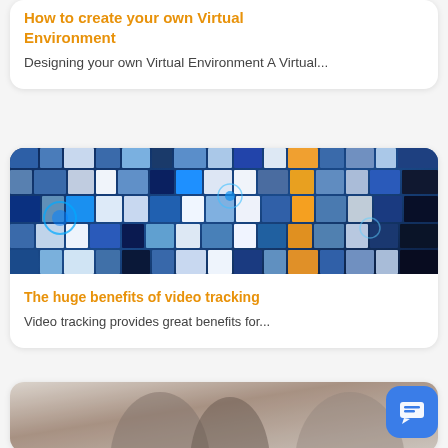How to create your own Virtual Environment
Designing your own Virtual Environment A Virtual...
[Figure (photo): Collage of many photos and images arranged in a curved wall or grid, including people, landscapes, blue glowing images, and various colorful thumbnails.]
The huge benefits of video tracking
Video tracking provides great benefits for...
[Figure (photo): Blurred photo of people, partially cropped at bottom of page.]